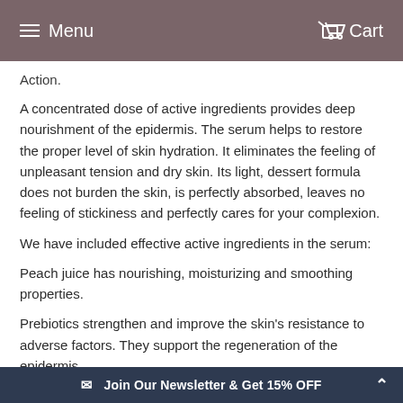Menu  Cart
Action.
A concentrated dose of active ingredients provides deep nourishment of the epidermis. The serum helps to restore the proper level of skin hydration. It eliminates the feeling of unpleasant tension and dry skin. Its light, dessert formula does not burden the skin, is perfectly absorbed, leaves no feeling of stickiness and perfectly cares for your complexion.
We have included effective active ingredients in the serum:
Peach juice has nourishing, moisturizing and smoothing properties.
Prebiotics strengthen and improve the skin's resistance to adverse factors. They support the regeneration of the epidermis.
Adaptogens (Holy Basil and Aloe) have a strong anti-radical and anti-aging effect. Rich in vitamins and minerals, they perfectly nourish the skin.
✉ Join Our Newsletter & Get 15% OFF